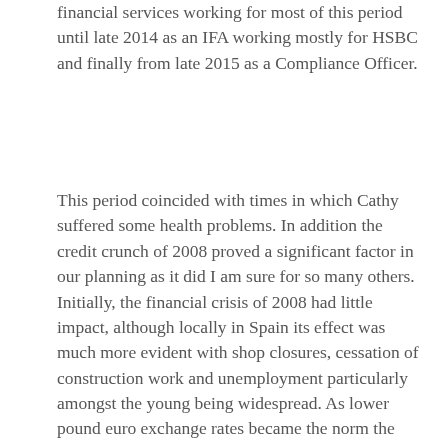financial services working for most of this period until late 2014 as an IFA working mostly for HSBC and finally from late 2015 as a Compliance Officer.
This period coincided with times in which Cathy suffered some health problems. In addition the credit crunch of 2008 proved a significant factor in our planning as it did I am sure for so many others. Initially, the financial crisis of 2008 had little impact, although locally in Spain its effect was much more evident with shop closures, cessation of construction work and unemployment particularly amongst the young being widespread. As lower pound euro exchange rates became the norm the upkeep of a relatively large capital asset that generated no income and all of its outgoings were based in Euros took its toll upon the availability of spare money for villa development.
As I strove to establish myself professionally in a new industry, maintaining an overseas property proved to be